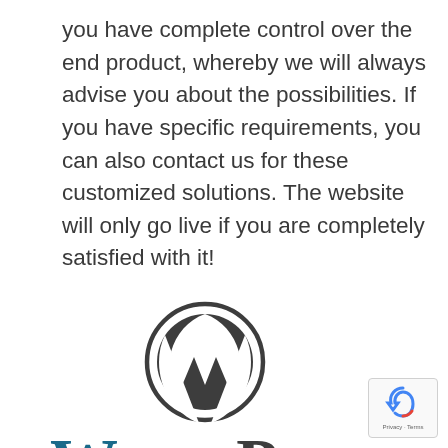you have complete control over the end product, whereby we will always advise you about the possibilities. If you have specific requirements, you can also contact us for these customized solutions. The website will only go live if you are completely satisfied with it!
[Figure (logo): WordPress logo: circular W mark icon above the WordPress wordmark in teal/dark blue]